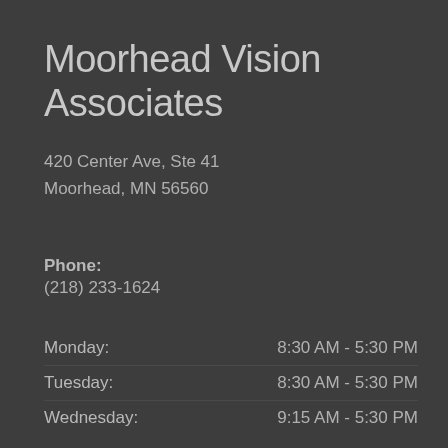Moorhead Vision Associates
420 Center Ave, Ste 41
Moorhead, MN 56560
Phone:
(218) 233-1624
| Day | Hours |
| --- | --- |
| Monday: | 8:30 AM - 5:30 PM |
| Tuesday: | 8:30 AM - 5:30 PM |
| Wednesday: | 9:15 AM - 5:30 PM |